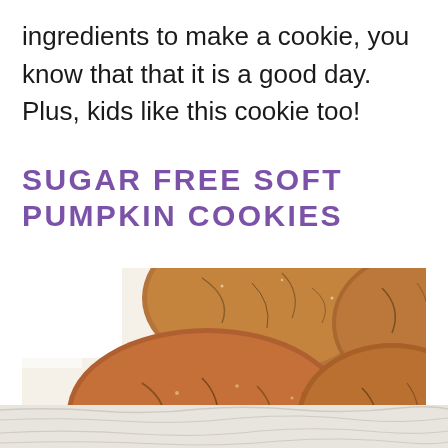ingredients to make a cookie, you know that that it is a good day. Plus, kids like this cookie too!
SUGAR FREE SOFT PUMPKIN COOKIES
[Figure (photo): Close-up photo of multiple round soft pumpkin cookies with a crinkled, sugar-dusted surface in a warm brown color, overlapping each other on a white background.]
[Figure (photo): Bottom portion showing a crinkled white background texture (parchment paper).]